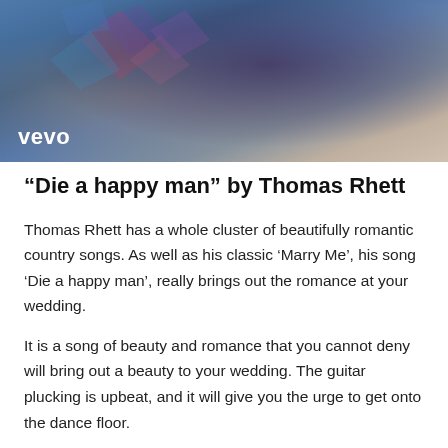[Figure (photo): A person wearing a colorful patterned jacket with the Vevo logo in the lower left corner of the image]
“Die a happy man” by Thomas Rhett
Thomas Rhett has a whole cluster of beautifully romantic country songs. As well as his classic ‘Marry Me’, his song ‘Die a happy man’, really brings out the romance at your wedding.
It is a song of beauty and romance that you cannot deny will bring out a beauty to your wedding. The guitar plucking is upbeat, and it will give you the urge to get onto the dance floor.
Lyrics: “If I never get to see the northern lights, or if I never get to see the Eiffel Tower at night. If all I got is your hand in